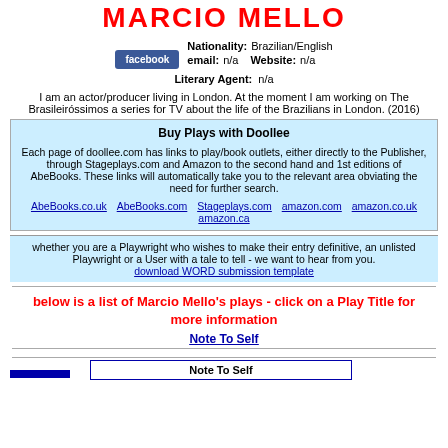MARCIO MELLO
Nationality: Brazilian/English
email: n/a  Website: n/a
[Figure (logo): Facebook button]
Literary Agent: n/a
I am an actor/producer living in London. At the moment I am working on The Brasileiróssimos a series for TV about the life of the Brazilians in London. (2016)
Buy Plays with Doollee
Each page of doollee.com has links to play/book outlets, either directly to the Publisher, through Stageplays.com and Amazon to the second hand and 1st editions of AbeBooks. These links will automatically take you to the relevant area obviating the need for further search.
AbeBooks.co.uk  AbeBooks.com  Stageplays.com  amazon.com  amazon.co.uk  amazon.ca
whether you are a Playwright who wishes to make their entry definitive, an unlisted Playwright or a User with a tale to tell - we want to hear from you.
download WORD submission template
below is a list of Marcio Mello's plays - click on a Play Title for more information
Note To Self
Note To Self